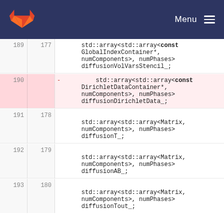Menu
| old line | new line | diff | code |
| --- | --- | --- | --- |
| 189 | 177 |  |     std::array<std::array<const GlobalIndexContainer*, numComponents>, numPhases> diffusionVolVarsStencil_; |
| 190 |  | - |         std::array<std::array<const DirichletDataContainer*, numComponents>, numPhases> diffusionDirichletData_; |
| 191 | 178 |  |     std::array<std::array<Matrix, numComponents>, numPhases> diffusionT_; |
| 192 | 179 |  |     std::array<std::array<Matrix, numComponents>, numPhases> diffusionAB_; |
| 193 | 180 |  |     std::array<std::array<Matrix, numComponents>, numPhases> diffusionTout_; |